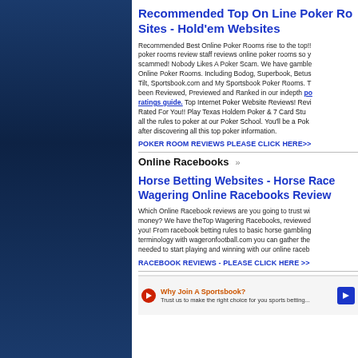Recommended Top On Line Poker Rooms Sites - Hold'em Websites
Recommended Best Online Poker Rooms rise to the top!! Our poker rooms review staff reviews online poker rooms so you don't get scammed! Nobody Likes A Poker Scam. We have gambled at the Best Online Poker Rooms. Including Bodog, Superbook, Betusa, Full Tilt, Sportsbook.com and My Sportsbook Poker Rooms. They have been Reviewed, Previewed and Ranked in our indepth poker room ratings guide. Top Internet Poker Website Reviews! Reviewed & Rated For You!! Play Texas Holdem Poker & 7 Card Stud. Learn all the rules to poker at our Poker School. You'll be a Poker Pro after discovering all this top poker information.
POKER ROOM REVIEWS PLEASE CLICK HERE>>
Online Racebooks
Horse Betting Websites - Horse Race Wagering Online Racebooks Review
Which Online Racebook reviews are you going to trust with your money? We have theTop Wagering Racebooks, reviewed and rated for you! From racebook betting rules to basic horse gambling terminology with wageronfootball.com you can gather the know-how needed to start playing and winning with our online racebooks.
RACEBOOK REVIEWS - PLEASE CLICK HERE >>
Why Join A Sportsbook?
Trust us to make the right choice for you sports betting...